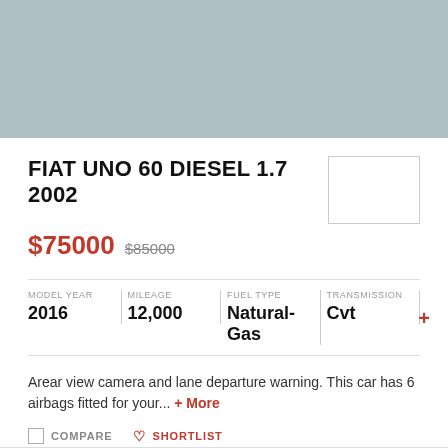[Figure (photo): Car image placeholder, light blue-grey background]
FIAT UNO 60 DIESEL 1.7 2002
$75000  $85000
| MODEL YEAR | MILEAGE | FUEL TYPE | TRANSMISSION |
| --- | --- | --- | --- |
| 2016 | 12,000 | Natural-Gas | Cvt |
Arear view camera and lane departure warning. This car has 6 airbags fitted for your... +More
COMPARE   SHORTLIST